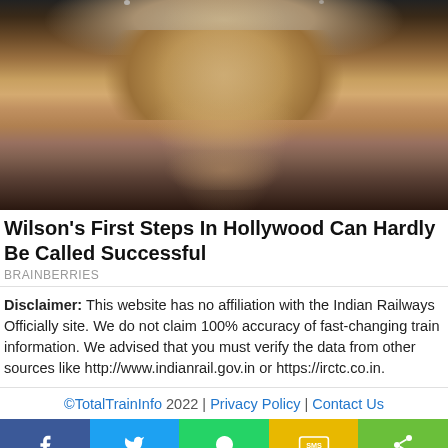[Figure (photo): Close-up photo of a person with curly blonde hair, nose piercing, against a dark background]
Wilson's First Steps In Hollywood Can Hardly Be Called Successful
BRAINBERRIES
Disclaimer: This website has no affiliation with the Indian Railways Officially site. We do not claim 100% accuracy of fast-changing train information. We advised that you must verify the data from other sources like http://www.indianrail.gov.in or https://irctc.co.in.
©TotalTrainInfo 2022 | Privacy Policy | Contact Us